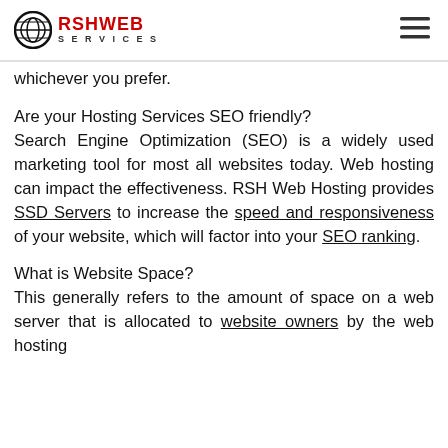RSH WEB SERVICES
whichever you prefer.
Are your Hosting Services SEO friendly?
Search Engine Optimization (SEO) is a widely used marketing tool for most all websites today. Web hosting can impact the effectiveness. RSH Web Hosting provides SSD Servers to increase the speed and responsiveness of your website, which will factor into your SEO ranking.
What is Website Space?
This generally refers to the amount of space on a web server that is allocated to website owners by the web hosting